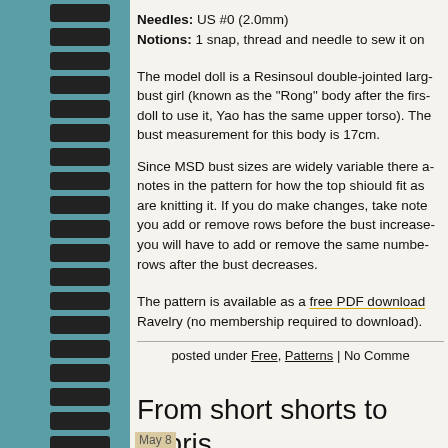Needles: US #0 (2.0mm)
Notions: 1 snap, thread and needle to sew it on
The model doll is a Resinsoul double-jointed large bust girl (known as the "Rong" body after the first doll to use it, Yao has the same upper torso). The bust measurement for this body is 17cm.
Since MSD bust sizes are widely variable there are notes in the pattern for how the top shiould fit as you are knitting it. If you do make changes, take note: if you add or remove rows before the bust increases, you will have to add or remove the same number of rows after the bust decreases.
The pattern is available as a free PDF download on Ravelry (no membership required to download).
posted under Free, Patterns | No Comments
From short shorts to capris